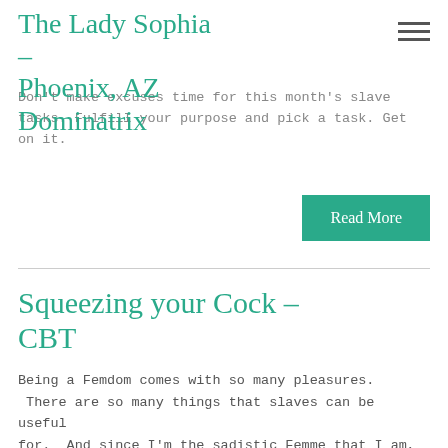The Lady Sophia – Phoenix, AZ Dominatrix
Don't make excuses time for this month's slave tasks. Fulfill your purpose and pick a task. Get on it.
Read More
Squeezing your Cock – CBT
Being a Femdom comes with so many pleasures.  There are so many things that slaves can be useful for.  And since I'm the sadistic Femme that I am, seeing them in discomfort and pain is amusing to Me.  I really enjoy inflicting pain.  Any kind of